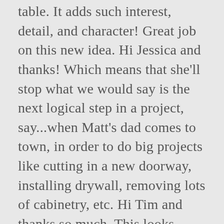table. It adds such interest, detail, and character! Great job on this new idea. Hi Jessica and thanks! Which means that she'll stop what we would say is the next logical step in a project, say...when Matt's dad comes to town, in order to do big projects like cutting in a new doorway, installing drywall, removing lots of cabinetry, etc. Hi Tim and thanks so much. This looks amazing!!! This is to add rigidity and also to 'fill' the gap between the art and the rear the frame. I know we're all different and do things our own way but sometimes I just want to ask why, lol, That certainly would have been the natural progression. Thank you for posting this tutorial! It could have become too fancy